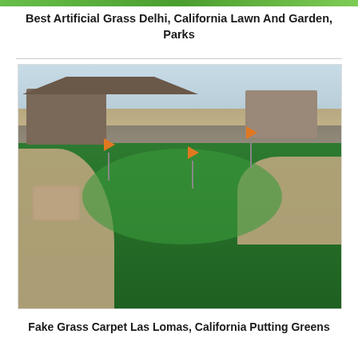[Figure (other): Green banner/header strip at the top of the page]
Best Artificial Grass Delhi, California Lawn And Garden, Parks
[Figure (photo): Photograph of a backyard artificial grass putting green with orange flags, surrounded by concrete patio, stone retaining wall, and houses with hills in the background in California]
Fake Grass Carpet Las Lomas, California Putting Greens